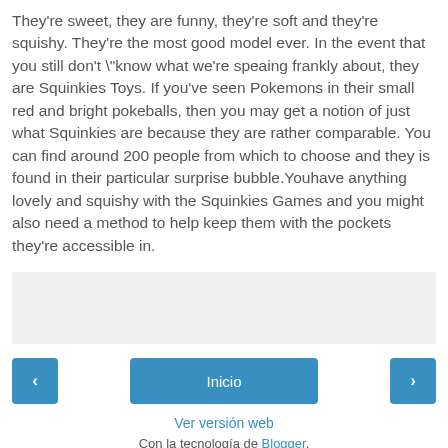They're sweet, they are funny, they're soft and they're squishy. They're the most good model ever. In the event that you still don't "know what we're speaing frankly about, they are Squinkies Toys. If you've seen Pokemons in their small red and bright pokeballs, then you may get a notion of just what Squinkies are because they are rather comparable. You can find around 200 people from which to choose and they is found in their particular surprise bubble.Youhave anything lovely and squishy with the Squinkies Games and you might also need a method to help keep them with the pockets they're accessible in.
[Figure (other): Light gray placeholder rectangle]
‹   Inicio   ›
Ver versión web
Con la tecnología de Blogger.